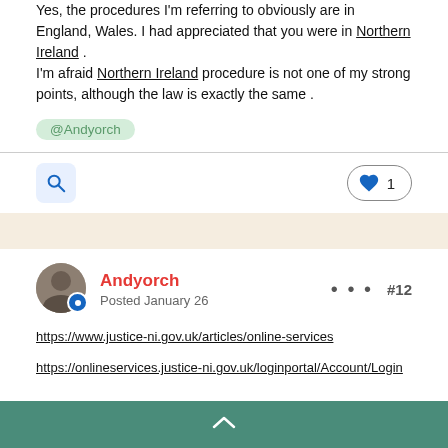Yes, the procedures I'm referring to obviously are in England, Wales. I had appreciated that you were in Northern Ireland . I'm afraid Northern Ireland procedure is not one of my strong points, although the law is exactly the same .
@Andyorch
Andyorch
Posted January 26
#12
https://www.justice-ni.gov.uk/articles/online-services
https://onlineservices.justice-ni.gov.uk/loginportal/Account/Login